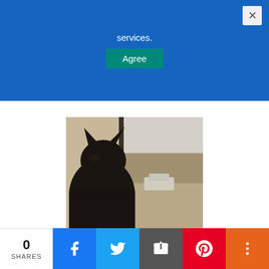services.
Agree
[Figure (photo): A dark cat silhouetted against a window looking outside at bare trees and parked cars in winter]
A dream in which you are yearning for a loved one means that soon you may hear from those who are now far away from you. For a young woman dream, in which
0 SHARES
[Figure (infographic): Social share bar with Facebook, Twitter, Email, Pinterest, and More buttons]